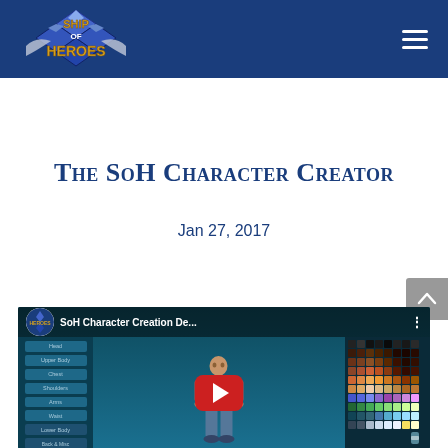Ship of Heroes — navigation header with logo and hamburger menu
The SoH Character Creator
Jan 27, 2017
[Figure (screenshot): YouTube embedded video thumbnail showing 'SoH Character Creation De...' with Ship of Heroes logo avatar, a character creator interface with color palette on the right, menu options on the left, a 3D character figure in the center, and a red YouTube play button overlay.]